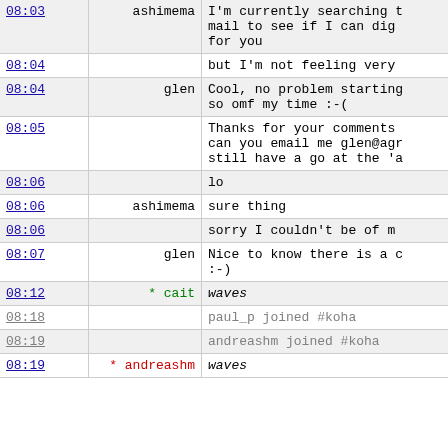| Time | Nick | Message |
| --- | --- | --- |
| 08:03 | ashimema | I'm currently searching mail to see if I can dig for you |
| 08:04 |  | but I'm not feeling very |
| 08:04 | glen | Cool, no problem starting so omf my time :-( |
| 08:05 |  | Thanks for your comments can you email me glen@agr still have a go at the 'a |
| 08:06 |  | lo |
| 08:06 | ashimema | sure thing |
| 08:06 |  | sorry I couldn't be of m |
| 08:07 | glen | Nice to know there is a c :-) |
| 08:12 | * cait | waves |
| 08:18 |  | paul_p joined #koha |
| 08:19 |  | andreashm joined #koha |
| 08:19 | * andreashm | waves |